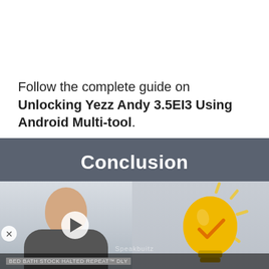Follow the complete guide on Unlocking Yezz Andy 3.5EI3 Using Android Multi-tool.
[Figure (screenshot): Video player showing 'Conclusion' title on a dark gray background with a split thumbnail: left side shows a person in a room, right side shows a lightbulb illustration. A play button is visible, along with a close button and a news ticker at the bottom reading 'BED BATH STOCK HALTED REPEAT DLY'.]